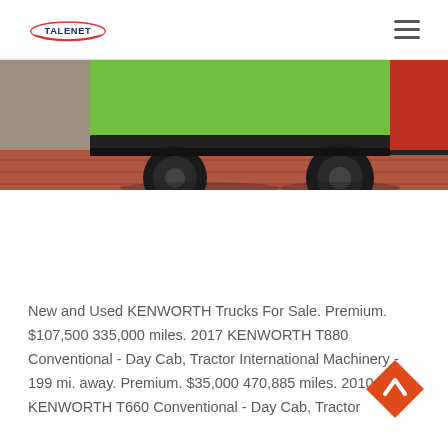TALENET
[Figure (photo): Bottom portion of a green Kenworth truck with large tires, parked on a brick/red surface near a stone wall.]
New and Used KENWORTH Trucks For Sale. Premium. $107,500 335,000 miles. 2017 KENWORTH T880 Conventional - Day Cab, Tractor International Machinery - 199 mi. away. Premium. $35,000 470,885 miles. 2010 KENWORTH T660 Conventional - Day Cab, Tractor